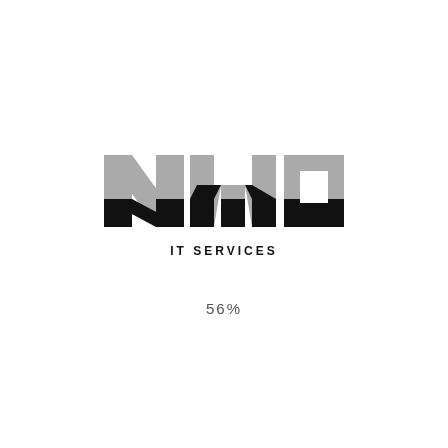[Figure (logo): NWO IT SERVICES logo with large stylized letters N, W, O in gray and black block style, followed by text IT SERVICES below]
56%